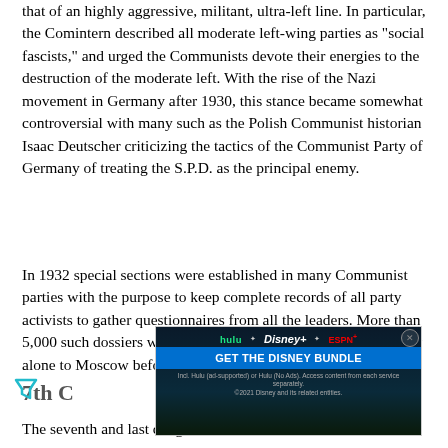that of an highly aggressive, militant, ultra-left line. In particular, the Comintern described all moderate left-wing parties as "social fascists," and urged the Communists devote their energies to the destruction of the moderate left. With the rise of the Nazi movement in Germany after 1930, this stance became somewhat controversial with many such as the Polish Communist historian Isaac Deutscher criticizing the tactics of the Communist Party of Germany of treating the S.P.D. as the principal enemy.
In 1932 special sections were established in many Communist parties with the purpose to keep complete records of all party activists to gather questionnaires from all the leaders. More than 5,000 such dossiers were sent from the French Communist Party alone to Moscow before the war.[19]
[Figure (other): Advertisement banner for Disney Bundle (Hulu, Disney+, ESPN+) with 'GET THE DISNEY BUNDLE' call to action and fine print about service access.]
7th C...
The seventh and last congress of the Comintern was held...